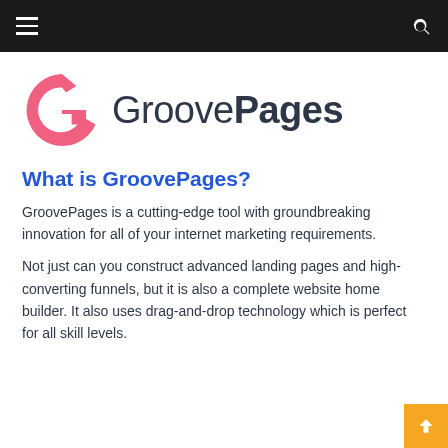[Figure (logo): GroovePages logo: a pink/coral G-shaped arrow icon on the left with the wordmark 'GroovePages' in dark gray sans-serif to the right, with 'Pages' in extra-bold weight]
What is GroovePages?
GroovePages is a cutting-edge tool with groundbreaking innovation for all of your internet marketing requirements.
Not just can you construct advanced landing pages and high-converting funnels, but it is also a complete website home builder. It also uses drag-and-drop technology which is perfect for all skill levels.